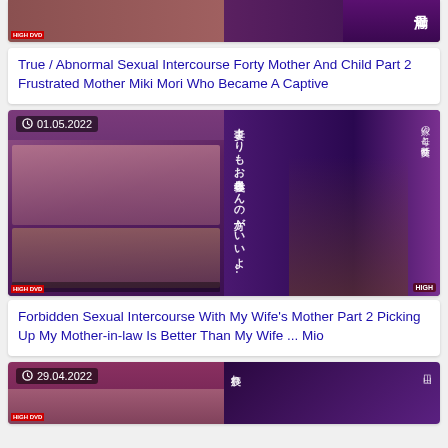[Figure (photo): Partially visible top card showing adult DVD cover images, two panels side by side]
True / Abnormal Sexual Intercourse Forty Mother And Child Part 2 Frustrated Mother Miki Mori Who Became A Captive
[Figure (photo): Adult DVD cover images with timestamp 01.05.2022, two panels side by side with Japanese text]
Forbidden Sexual Intercourse With My Wife's Mother Part 2 Picking Up My Mother-in-law Is Better Than My Wife ... Mio
[Figure (photo): Partially visible bottom card showing adult DVD cover images with timestamp 29.04.2022]